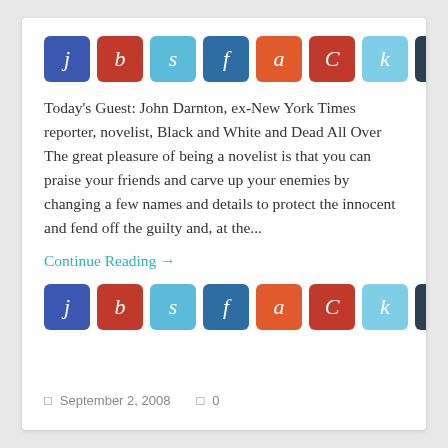[Figure (other): Row of 8 colored social sharing buttons with letters: j (blue), b (red), s (light blue), f (dark blue), a (orange-red), C (red), k (light cyan), r (dark navy)]
Today's Guest: John Darnton, ex-New York Times reporter, novelist, Black and White and Dead All Over The great pleasure of being a novelist is that you can praise your friends and carve up your enemies by changing a few names and details to protect the innocent and fend off the guilty and, at the...
Continue Reading →
[Figure (other): Row of 8 colored social sharing buttons with letters: j (blue), b (red), s (light blue), f (dark blue), a (orange-red), C (red), k (light cyan), r (dark navy)]
September 2, 2008   0